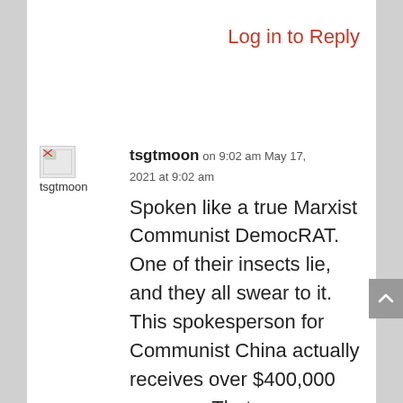Log in to Reply
[Figure (other): User avatar image placeholder for tsgtmoon with broken image icon]
tsgtmoon
tsgtmoon on 9:02 am May 17, 2021 at 9:02 am
Spoken like a true Marxist Communist DemocRAT. One of their insects lie, and they all swear to it. This spokesperson for Communist China actually receives over $400,000 per year. That